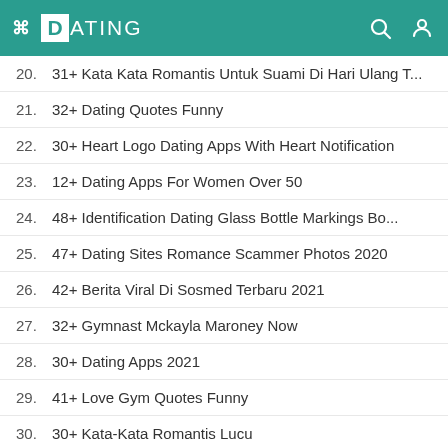DATING
20.  31+ Kata Kata Romantis Untuk Suami Di Hari Ulang T...
21.  32+ Dating Quotes Funny
22.  30+ Heart Logo Dating Apps With Heart Notification
23.  12+ Dating Apps For Women Over 50
24.  48+ Identification Dating Glass Bottle Markings Bo...
25.  47+ Dating Sites Romance Scammer Photos 2020
26.  42+ Berita Viral Di Sosmed Terbaru 2021
27.  32+ Gymnast Mckayla Maroney Now
28.  30+ Dating Apps 2021
29.  41+ Love Gym Quotes Funny
30.  30+ Kata-Kata Romantis Lucu
31.  43+ Film Horor Indonesia Terbaru 2021
32.  27+ Film Horor Indonesia 2021 Terseram